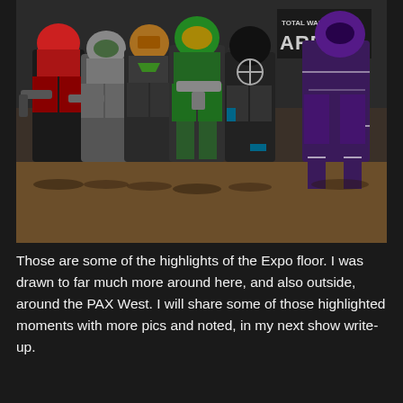[Figure (photo): Group of cosplayers dressed in Halo video game armor suits (Spartan armor) posing together at PAX West convention expo floor. They wear full body armor in various colors including red, grey, green, black, and purple, and carry prop weapons. A 'Total War Arena' sign is visible in the background.]
Those are some of the highlights of the Expo floor. I was drawn to far much more around here, and also outside, around the PAX West. I will share some of those highlighted moments with more pics and noted, in my next show write-up.